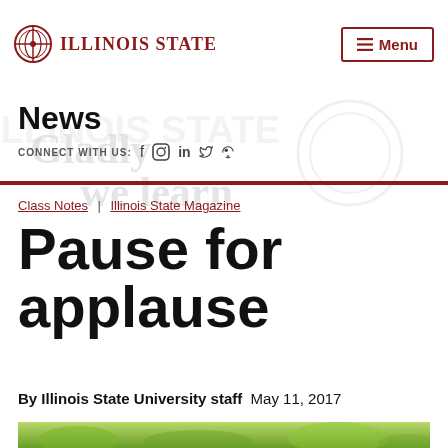Illinois State | Menu
News
CONNECT WITH US: f  in  (social icons)
Class Notes | Illinois State Magazine
Pause for applause
By Illinois State University staff  May 11, 2017
[Figure (photo): Green outdoor photo, blurred trees/foliage visible at bottom of page]